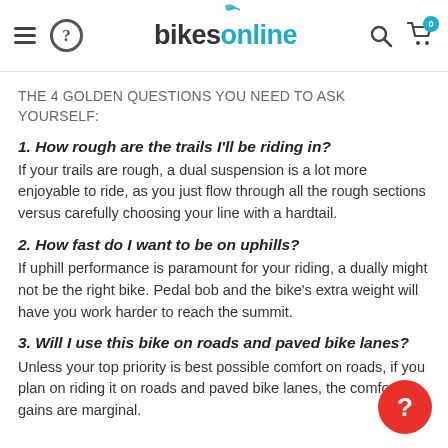bikesonline
THE 4 GOLDEN QUESTIONS YOU NEED TO ASK YOURSELF:
1. How rough are the trails I'll be riding in?
If your trails are rough, a dual suspension is a lot more enjoyable to ride, as you just flow through all the rough sections versus carefully choosing your line with a hardtail.
2. How fast do I want to be on uphills?
If uphill performance is paramount for your riding, a dually might not be the right bike. Pedal bob and the bike's extra weight will have you work harder to reach the summit.
3. Will I use this bike on roads and paved bike lanes?
Unless your top priority is best possible comfort on roads, if you plan on riding it on roads and paved bike lanes, the comfort gains are marginal.